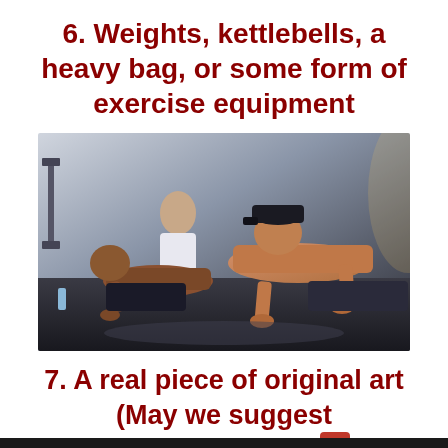6. Weights, kettlebells, a heavy bag, or some form of exercise equipment
[Figure (photo): Two shirtless men doing push-ups on a gym floor, with a woman in the background during a workout session.]
7. A real piece of original art (May we suggest @aboriginalpeop